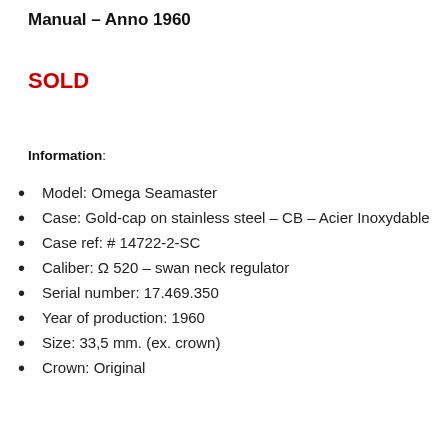Manual – Anno 1960
SOLD
Information:
Model: Omega Seamaster
Case: Gold-cap on stainless steel – CB – Acier Inoxydable
Case ref: # 14722-2-SC
Caliber: Ω 520 – swan neck regulator
Serial number: 17.469.350
Year of production: 1960
Size: 33,5 mm. (ex. crown)
Crown: Original